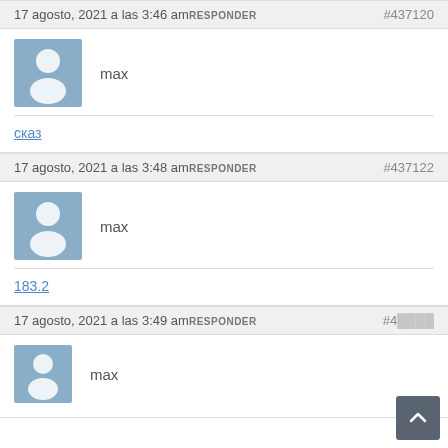17 agosto, 2021 a las 3:46 am RESPONDER #437120
[Figure (illustration): Default user avatar (blue-grey silhouette of a person)]
max
сказ
17 agosto, 2021 a las 3:48 am RESPONDER #437122
[Figure (illustration): Default user avatar (blue-grey silhouette of a person)]
max
183.2
17 agosto, 2021 a las 3:49 am RESPONDER #4...
[Figure (illustration): Default user avatar (blue-grey silhouette of a person)]
max